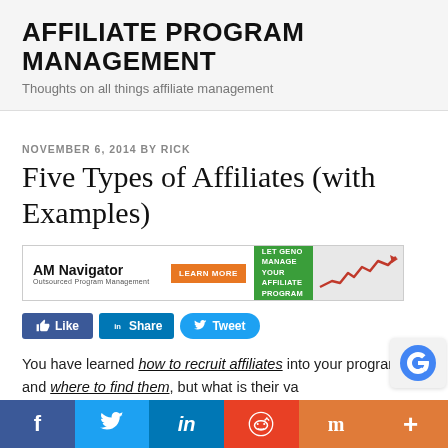AFFILIATE PROGRAM MANAGEMENT
Thoughts on all things affiliate management
NOVEMBER 6, 2014 BY RICK
Five Types of Affiliates (with Examples)
[Figure (other): AM Navigator affiliate program management advertisement banner with Learn More button and a red upward trending chart graphic]
[Figure (other): Social sharing buttons: Like (Facebook), Share (LinkedIn), Tweet (Twitter)]
You have learned how to recruit affiliates into your program and where to find them, but what is their va
[Figure (other): Bottom social sharing bar with icons for Facebook, Twitter, LinkedIn, Reddit, Mix, and a plus button]